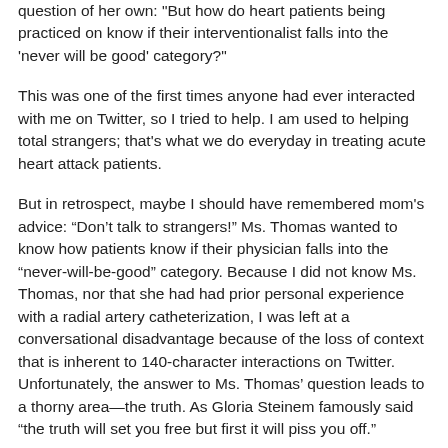question of her own: "But how do heart patients being practiced on know if their interventionalist falls into the 'never will be good' category?"
This was one of the first times anyone had ever interacted with me on Twitter, so I tried to help. I am used to helping total strangers; that's what we do everyday in treating acute heart attack patients.
But in retrospect, maybe I should have remembered mom's advice: “Don’t talk to strangers!” Ms. Thomas wanted to know how patients know if their physician falls into the “never-will-be-good” category. Because I did not know Ms. Thomas, nor that she had had prior personal experience with a radial artery catheterization, I was left at a conversational disadvantage because of the loss of context that is inherent to 140-character interactions on Twitter. Unfortunately, the answer to Ms. Thomas’ question leads to a thorny area—the truth. As Gloria Steinem famously said “the truth will set you free but first it will piss you off.”
The truth here is simple: it’s not easy to know if your